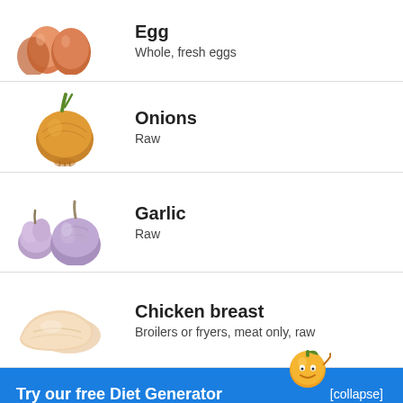Egg
Whole, fresh eggs
Onions
Raw
Garlic
Raw
Chicken breast
Broilers or fryers, meat only, raw
Try our free Diet Generator
[collapse]
I want to eat 1500 calories in 4 meals.
Generate